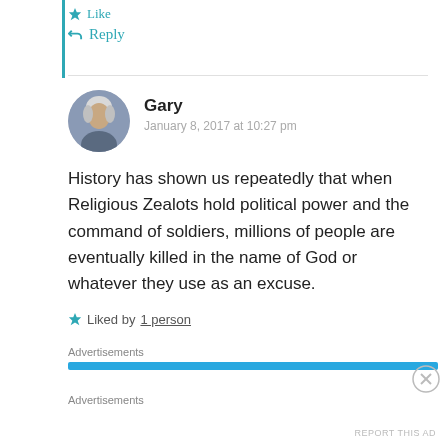★ Like
↳ Reply
Gary
January 8, 2017 at 10:27 pm
History has shown us repeatedly that when Religious Zealots hold political power and the command of soldiers, millions of people are eventually killed in the name of God or whatever they use as an excuse.
★ Liked by 1 person
Advertisements
Advertisements